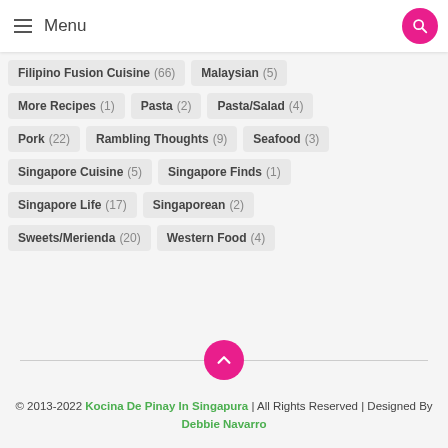Menu
Filipino Fusion Cuisine (66)
Malaysian (5)
More Recipes (1)
Pasta (2)
Pasta/Salad (4)
Pork (22)
Rambling Thoughts (9)
Seafood (3)
Singapore Cuisine (5)
Singapore Finds (1)
Singapore Life (17)
Singaporean (2)
Sweets/Merienda (20)
Western Food (4)
© 2013-2022 Kocina De Pinay In Singapura | All Rights Reserved | Designed By Debbie Navarro